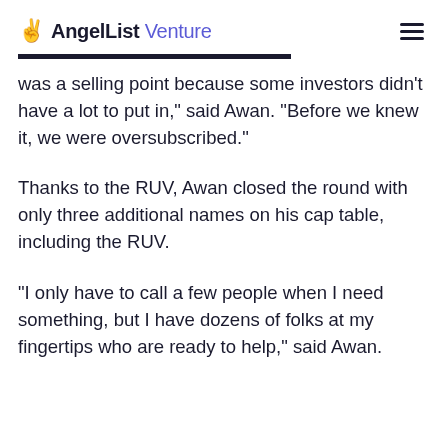AngelList Venture
was a selling point because some investors didn’t have a lot to put in,” said Awan. “Before we knew it, we were oversubscribed.”
Thanks to the RUV, Awan closed the round with only three additional names on his cap table, including the RUV.
“I only have to call a few people when I need something, but I have dozens of folks at my fingertips who are ready to help,” said Awan.